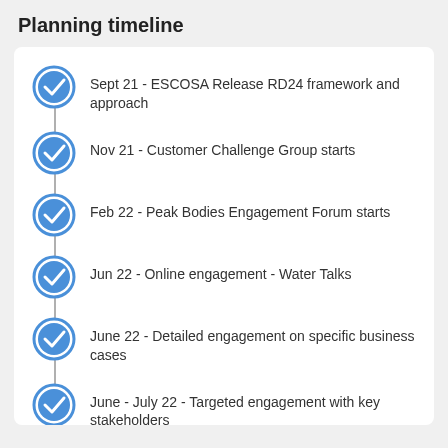Planning timeline
Sept 21 - ESCOSA Release RD24 framework and approach
Nov 21 - Customer Challenge Group starts
Feb 22 - Peak Bodies Engagement Forum starts
Jun 22 - Online engagement - Water Talks
June 22 - Detailed engagement on specific business cases
June - July 22 - Targeted engagement with key stakeholders
July 22 - Regional Workshops